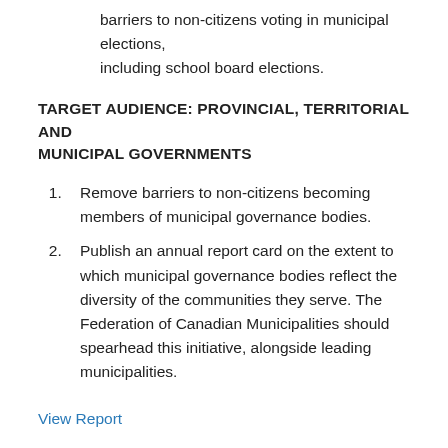barriers to non-citizens voting in municipal elections, including school board elections.
TARGET AUDIENCE: PROVINCIAL, TERRITORIAL AND MUNICIPAL GOVERNMENTS
Remove barriers to non-citizens becoming members of municipal governance bodies.
Publish an annual report card on the extent to which municipal governance bodies reflect the diversity of the communities they serve. The Federation of Canadian Municipalities should spearhead this initiative, alongside leading municipalities.
View Report